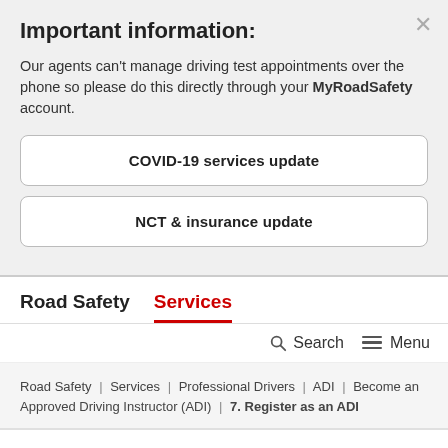Important information:
Our agents can't manage driving test appointments over the phone so please do this directly through your MyRoadSafety account.
COVID-19 services update
NCT & insurance update
Road Safety   Services
Search   Menu
Road Safety | Services | Professional Drivers | ADI | Become an Approved Driving Instructor (ADI) | 7. Register as an ADI
Professional Drivers